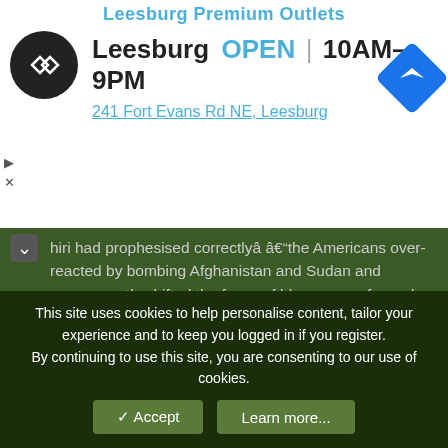[Figure (screenshot): Advertisement banner for Leesburg Premium Outlets showing store logo, open status, hours 10AM-9PM, and address 241 Fort Evans Rd NE, Leesburg]
hiri had prophesised correctlyâ â€“the Americans over-reacted by bombing Afghanistan and Sudan and consequently shifted the focus of blame away from al-Qaeda. If the Americans had not over-reacted to that attack they would have won a great moral victory. Clinton... identified Bin Laden as the enemy...
Click to expand...
Overreaction.. when really it was obviously an under-reaction when considering what happened 3 years later in Afghanistan and the Sudan. This is just more backwards thinking.
He goes on to explain the motivation for 9/11 and the result of the American reaction:
The next stage involved initiating a full scale polarization between...
This site uses cookies to help personalise content, tailor your experience and to keep you logged in if you register.
By continuing to use this site, you are consenting to our use of cookies.
Accept
Learn more...